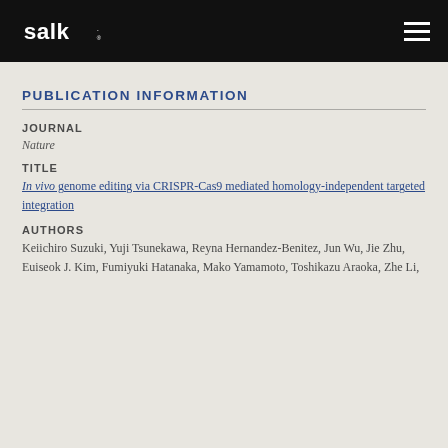salk. [logo] [hamburger menu]
PUBLICATION INFORMATION
JOURNAL
Nature
TITLE
In vivo genome editing via CRISPR-Cas9 mediated homology-independent targeted integration
AUTHORS
Keiichiro Suzuki, Yuji Tsunekawa, Reyna Hernandez-Benitez, Jun Wu, Jie Zhu, Euiseok J. Kim, Fumiyuki Hatanaka, Mako Yamamoto, Toshikazu Araoka, Zhe Li,